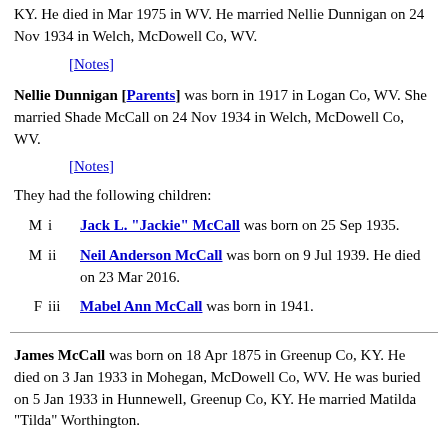KY. He died in Mar 1975 in WV. He married Nellie Dunnigan on 24 Nov 1934 in Welch, McDowell Co, WV.
[Notes]
Nellie Dunnigan [Parents] was born in 1917 in Logan Co, WV. She married Shade McCall on 24 Nov 1934 in Welch, McDowell Co, WV.
[Notes]
They had the following children:
M  i  Jack L. "Jackie" McCall was born on 25 Sep 1935.
M  ii  Neil Anderson McCall was born on 9 Jul 1939. He died on 23 Mar 2016.
F  iii  Mabel Ann McCall was born in 1941.
James McCall was born on 18 Apr 1875 in Greenup Co, KY. He died on 3 Jan 1933 in Mohegan, McDowell Co, WV. He was buried on 5 Jan 1933 in Hunnewell, Greenup Co, KY. He married Matilda "Tilda" Worthington.